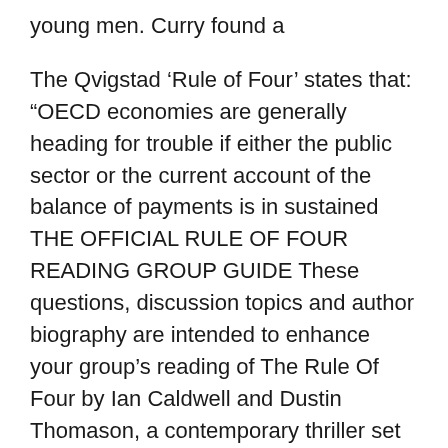young men. Curry found a
The Qvigstad ‘Rule of Four’ states that: “OECD economies are generally heading for trouble if either the public sector or the current account of the balance of payments is in sustained THE OFFICIAL RULE OF FOUR READING GROUP GUIDE These questions, discussion topics and author biography are intended to enhance your group’s reading of The Rule Of Four by Ian Caldwell and Dustin Thomason, a contemporary thriller set in the rarified world of scholarship as much as in the world of centuries-old code-makers, and code-breakers. We
Vitamins, Supplements, Sport Nutrition. Drew Karpyshyn «Star Wars - Darth Bane (II): Rule of